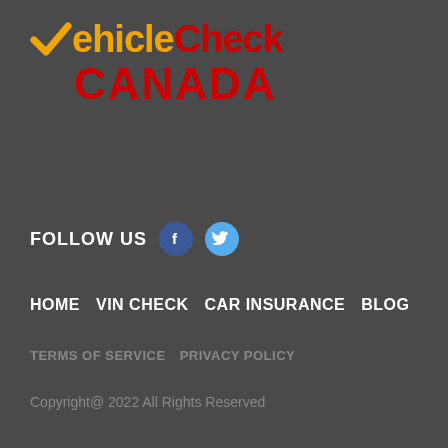[Figure (logo): VehicleCheck Canada logo with orange checkmark, orange 'Vehicle', red 'Check' on first line, and red 'CANADA' on second line]
FOLLOW US
[Figure (illustration): Facebook social media icon (blue circle with white F)]
[Figure (illustration): Twitter social media icon (light blue circle with white bird)]
HOME   VIN CHECK   CAR INSURANCE   BLOG
TERMS OF SERVICE   PRIVACY POLICY
Copyright@ 2022 All Rights Reserved